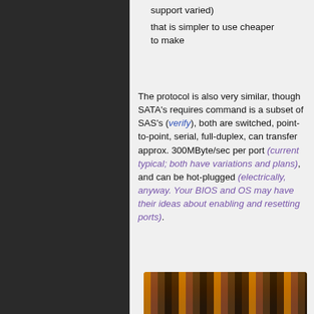[Figure (illustration): Dark gear/cog pattern background on left panel]
support varied) that is simpler to use cheaper to make
The protocol is also very similar, though SATA's requires command is a subset of SAS's (verify), both are switched, point-to-point, serial, full-duplex, can transfer approx. 300MByte/sec per port (current typical; both have variations and plans), and can be hot-plugged (electrically, anyway. Your BIOS and OS may have their ideas about enabling and resetting ports).
[Figure (photo): Partial photo of hardware/drives at bottom of page]